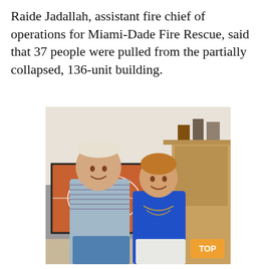Raide Jadallah, assistant fire chief of operations for Miami-Dade Fire Rescue, said that 37 people were pulled from the partially collapsed, 136-unit building.
[Figure (photo): Two elderly people posing together indoors. An older man in a striped polo shirt stands with his arm around a shorter older woman in a blue top with gold necklaces. A TV showing a sports game is visible in the background along with shelves and framed photos.]